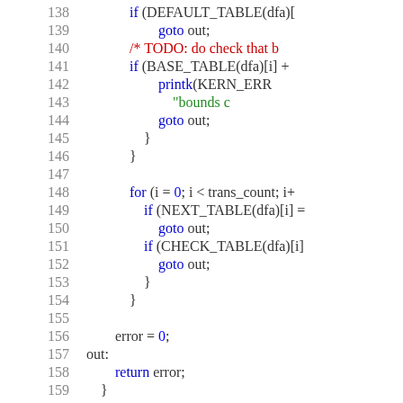[Figure (screenshot): Source code listing (C kernel code) showing lines 138-159 with syntax highlighting. Blue keywords, red comments, green strings, gray line numbers on white background.]